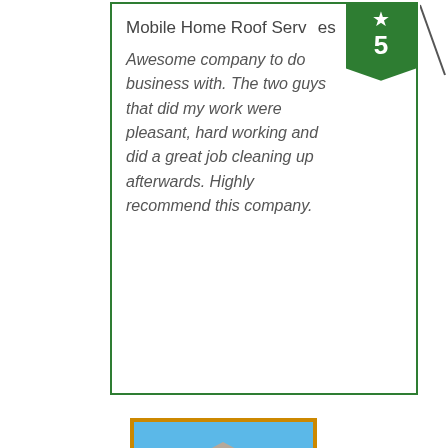Mobile Home Roof Services
Awesome company to do business with. The two guys that did my work were pleasant, hard working and did a great job cleaning up afterwards. Highly recommend this company.
[Figure (photo): Photo of a mobile home with blue sky, surrounded by palm trees and landscaping, with an orange border.]
A. Dawn
Mobile Home Owner
Mobile Home Services
We are so glad that we chose All Florida Roofing...